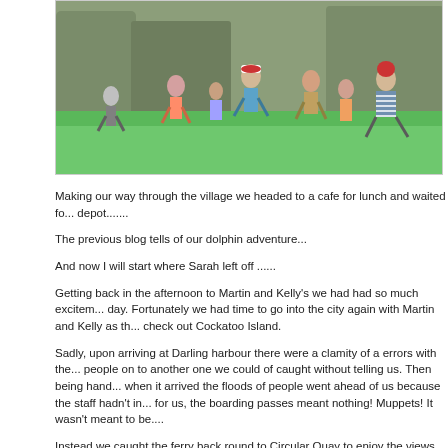[Figure (photo): Children and adults running and playing on a bright green surface outdoors, with large rocks or stone walls in the background.]
Making our way through the village we headed to a cafe for lunch and waited fo... depot.......
The previous blog tells of our dolphin adventure...
And now I will start where Sarah left off ......
Getting back in the afternoon to Martin and Kelly's we had had so much excitem... day. Fortunately we had time to go into the city again with Martin and Kelly as th... check out Cockatoo Island.
Sadly, upon arriving at Darling harbour there were a clamity of a errors with the... people on to another one we could of caught without telling us. Then being hand... when it arrived the floods of people went ahead of us because the staff hadn't in... for us, the boarding passes meant nothing! Muppets! It wasn't meant to be....
Instead we caught the ferry back round to Circular Quay to enjoy the views from... Martins favourite pub, which was like you typically English set up, full of charact... travels and suchlike which was great, it nice to hear what other people have do... time.